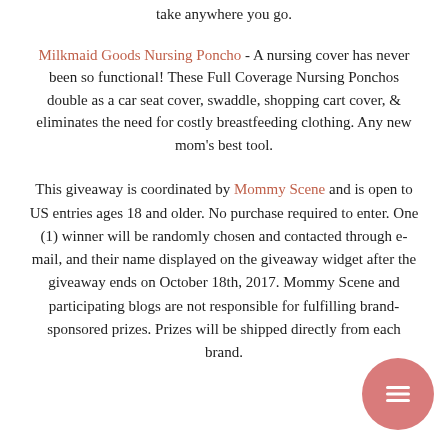take anywhere you go.
Milkmaid Goods Nursing Poncho - A nursing cover has never been so functional! These Full Coverage Nursing Ponchos double as a car seat cover, swaddle, shopping cart cover, & eliminates the need for costly breastfeeding clothing. Any new mom's best tool.
This giveaway is coordinated by Mommy Scene and is open to US entries ages 18 and older. No purchase required to enter. One (1) winner will be randomly chosen and contacted through e-mail, and their name displayed on the giveaway widget after the giveaway ends on October 18th, 2017. Mommy Scene and participating blogs are not responsible for fulfilling brand-sponsored prizes. Prizes will be shipped directly from each brand.